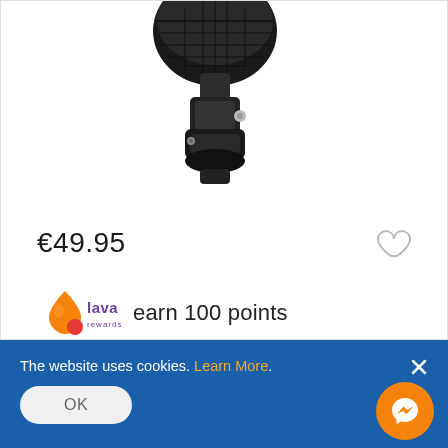[Figure (photo): Product photo of a black microphone with shock mount/clamp hardware, viewed from below showing the mount mechanism, against a white background]
€49.95
[Figure (logo): Lava Rewards logo with orange droplet/flame icon and purple 'lava rewards' text, followed by 'earn 100 points' text]
The website uses cookies. Learn More.
OK